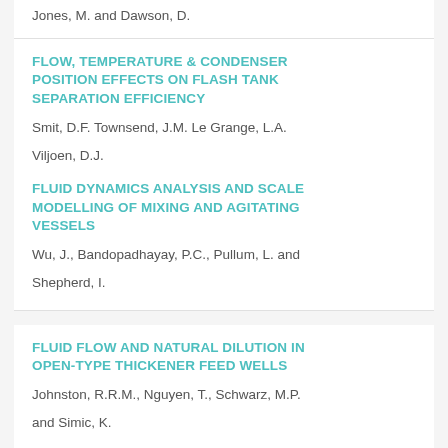Jones, M. and Dawson, D.
FLOW, TEMPERATURE & CONDENSER POSITION EFFECTS ON FLASH TANK SEPARATION EFFICIENCY
Smit, D.F. Townsend, J.M. Le Grange, L.A.
Viljoen, D.J.
FLUID DYNAMICS ANALYSIS AND SCALE MODELLING OF MIXING AND AGITATING VESSELS
Wu, J., Bandopadhayay, P.C., Pullum, L. and
Shepherd, I.
FLUID FLOW AND NATURAL DILUTION IN OPEN-TYPE THICKENER FEED WELLS
Johnston, R.R.M., Nguyen, T., Schwarz, M.P.
and Simic, K.